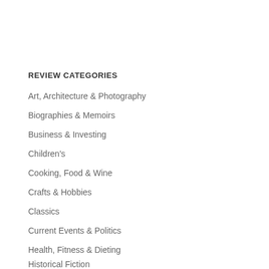REVIEW CATEGORIES
Art, Architecture & Photography
Biographies & Memoirs
Business & Investing
Children's
Cooking, Food & Wine
Crafts & Hobbies
Classics
Current Events & Politics
Health, Fitness & Dieting
Historical Fiction